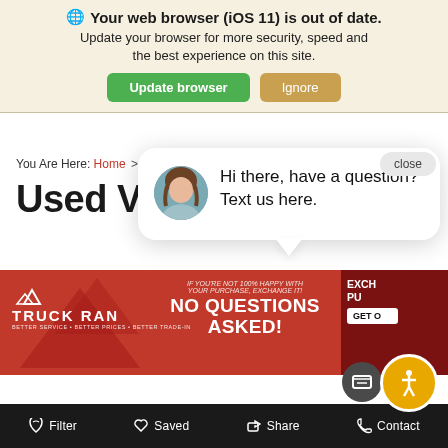🌐 Your web browser (iOS 11) is out of date. Update your browser for more security, speed and the best experience on this site.
Update browser | Ignore
You Are Here: Home > Used Vehicles
Used Vehicles
[Figure (screenshot): Chat popup with avatar photo of a woman and text 'Hi there, have a question? Text us here.' and a close button]
[Figure (photo): Truck Ranch advertisement banner with red background, triangular mountain motifs, 'TRUCK RANCH' logo, 'YOUR PURCHASE, EXCHANGE IT! NO QUESTIONS ASKED!' text, and partial text on right]
Filter | Saved | Share | Contact